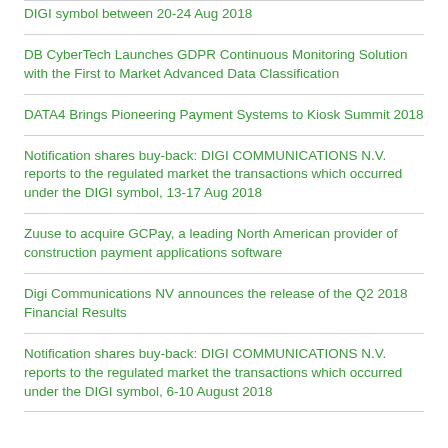DIGI symbol between 20-24 Aug 2018
DB CyberTech Launches GDPR Continuous Monitoring Solution with the First to Market Advanced Data Classification
DATA4 Brings Pioneering Payment Systems to Kiosk Summit 2018
Notification shares buy-back: DIGI COMMUNICATIONS N.V. reports to the regulated market the transactions which occurred under the DIGI symbol, 13-17 Aug 2018
Zuuse to acquire GCPay, a leading North American provider of construction payment applications software
Digi Communications NV announces the release of the Q2 2018 Financial Results
Notification shares buy-back: DIGI COMMUNICATIONS N.V. reports to the regulated market the transactions which occurred under the DIGI symbol, 6-10 August 2018